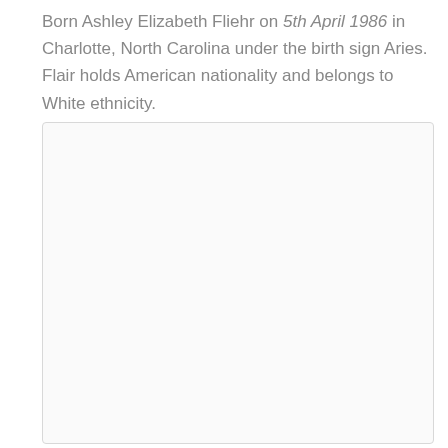Born Ashley Elizabeth Fliehr on 5th April 1986 in Charlotte, North Carolina under the birth sign Aries. Flair holds American nationality and belongs to White ethnicity.
[Figure (photo): A large empty image placeholder box with a light gray background and a thin light gray border.]